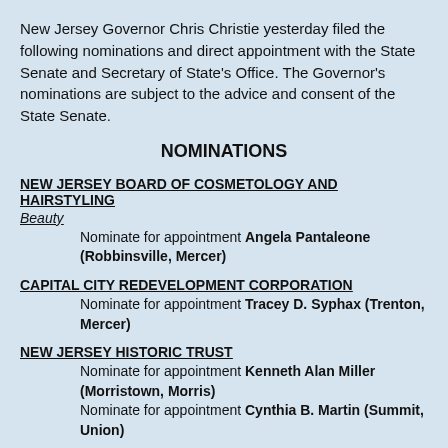New Jersey Governor Chris Christie yesterday filed the following nominations and direct appointment with the State Senate and Secretary of State's Office. The Governor's nominations are subject to the advice and consent of the State Senate.
NOMINATIONS
NEW JERSEY BOARD OF COSMETOLOGY AND HAIRSTYLING
Beauty
Nominate for appointment Angela Pantaleone (Robbinsville, Mercer)
CAPITAL CITY REDEVELOPMENT CORPORATION
Nominate for appointment Tracey D. Syphax (Trenton, Mercer)
NEW JERSEY HISTORIC TRUST
Nominate for appointment Kenneth Alan Miller (Morristown, Morris)
Nominate for appointment Cynthia B. Martin (Summit, Union)